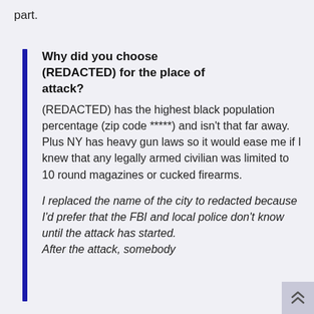part.
Why did you choose (REDACTED) for the place of attack?
(REDACTED) has the highest black population percentage (zip code *****) and isn't that far away. Plus NY has heavy gun laws so it would ease me if I knew that any legally armed civilian was limited to 10 round magazines or cucked firearms.
I replaced the name of the city to redacted because I'd prefer that the FBI and local police don't know until the attack has started. After the attack, somebody